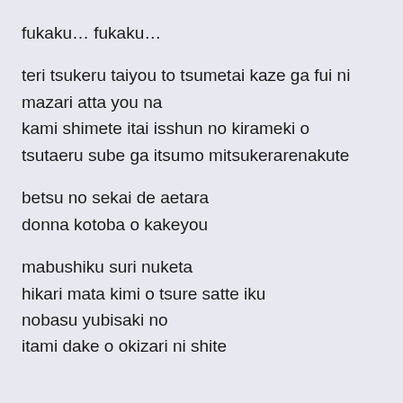fukaku… fukaku…
teri tsukeru taiyou to tsumetai kaze ga fui ni mazari atta you na
kami shimete itai isshun no kirameki o
tsutaeru sube ga itsumo mitsukerarenakute
betsu no sekai de aetara
donna kotoba o kakeyou
mabushiku suri nuketa
hikari mata kimi o tsure satte iku
nobasu yubisaki no
itami dake o okizari ni shite